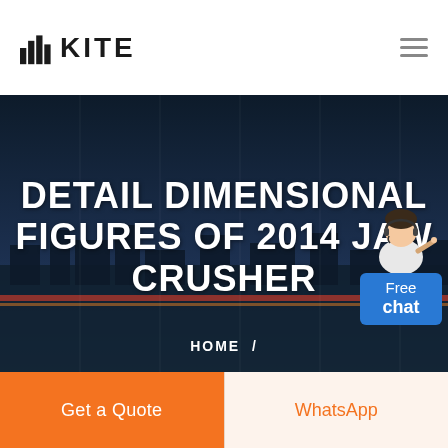KITE
DETAIL DIMENSIONAL FIGURES OF 2014 JAW CRUSHER
HOME /
[Figure (illustration): Customer service representative with headset, 'Free chat' button widget in blue]
Get a Quote
WhatsApp